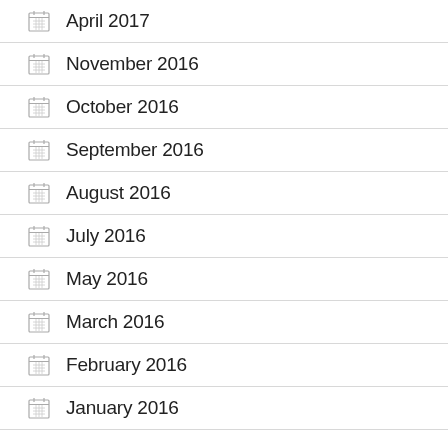April 2017
November 2016
October 2016
September 2016
August 2016
July 2016
May 2016
March 2016
February 2016
January 2016